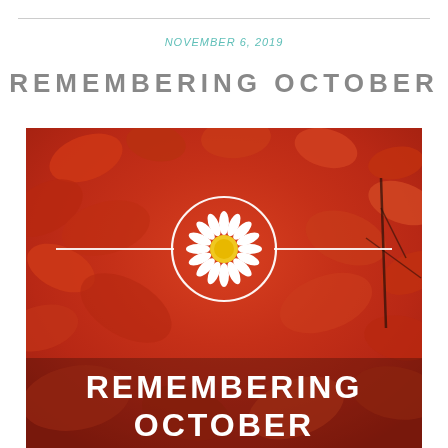NOVEMBER 6, 2019
REMEMBERING OCTOBER
[Figure (photo): Autumn red leaves background photo with a white daisy flower inside a white circle emblem centered on the image, with horizontal white lines extending left and right from the circle. At the bottom, bold white text reads 'REMEMBERING OCTOBER'.]